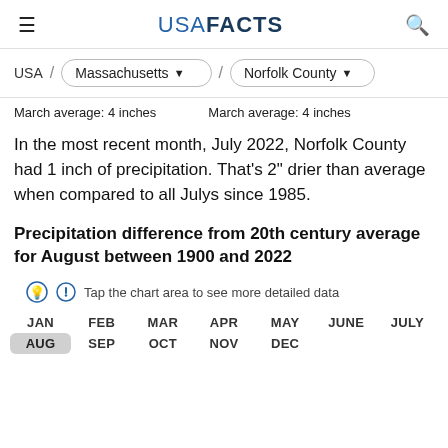USA FACTS
USA / Massachusetts / Norfolk County
March average: 4 inches    March average: 4 inches
In the most recent month, July 2022, Norfolk County had 1 inch of precipitation. That's 2" drier than average when compared to all Julys since 1985.
Precipitation difference from 20th century average for August between 1900 and 2022
Tap the chart area to see more detailed data
JAN  FEB  MAR  APR  MAY  JUNE  JULY
AUG  SEP  OCT  NOV  DEC